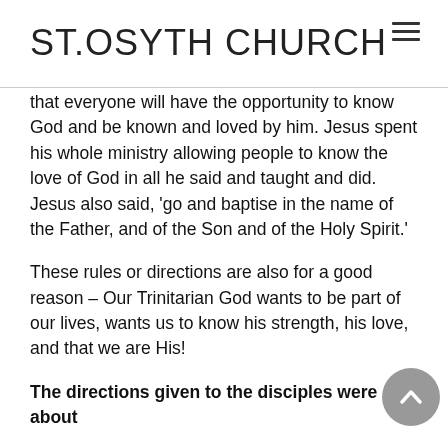ST.OSYTH CHURCH
that everyone will have the opportunity to know God and be known and loved by him. Jesus spent his whole ministry allowing people to know the love of God in all he said and taught and did. Jesus also said, ‘go and baptise in the name of the Father, and of the Son and of the Holy Spirit.’
These rules or directions are also for a good reason – Our Trinitarian God wants to be part of our lives, wants us to know his strength, his love, and that we are His!
The directions given to the disciples were about